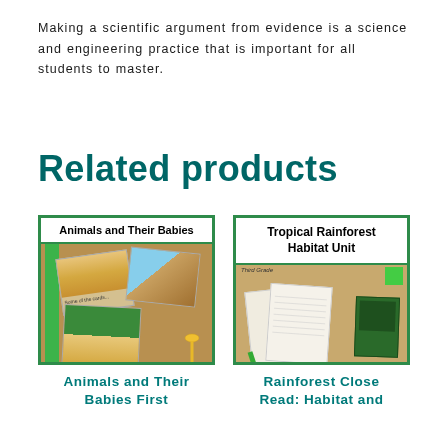Making a scientific argument from evidence is a science and engineering practice that is important for all students to master.
Related products
[Figure (photo): Product image for 'Animals and Their Babies' showing a collage of animal photos with green scissors on a wooden surface]
[Figure (photo): Product image for 'Tropical Rainforest Habitat Unit' showing worksheets, pencils and dark green cards on a wooden surface with Third Grade label]
Animals and Their Babies First
Rainforest Close Read: Habitat and